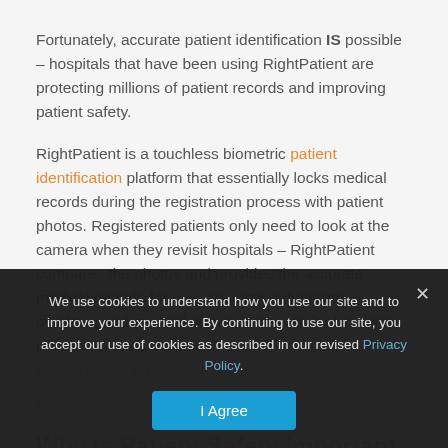Fortunately, accurate patient identification IS possible – hospitals that have been using RightPatient are protecting millions of patient records and improving patient safety.
RightPatient is a touchless biometric patient identification platform that essentially locks medical records during the registration process with patient photos. Registered patients only need to look at the camera when they revisit hospitals – RightPatient compares the photos and provides the accurate medical records for use, preventing duplicates, overlays, and medical errors. Moreover, it also helps prevent HAIs as it's entirely touchless – improving patient safety on two fronts.
How It Helps – Continuous Improvement… [partially obscured]
We use cookies to understand how you use our site and to improve your experience. By continuing to use our site, you accept our use of cookies as described in our revised Privacy Policy.
Why is Patient Safety Important and How Can RightPatient Help?